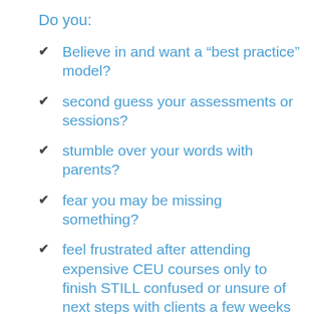Do you:
Believe in and want a “best practice” model?
second guess your assessments or sessions?
stumble over your words with parents?
fear you may be missing something?
feel frustrated after attending expensive CEU courses only to finish STILL confused or unsure of next steps with clients a few weeks later?
want a way to tie all the pieces of what you’ve learned together to create…